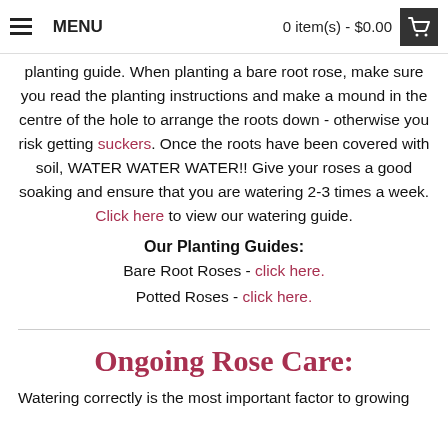MENU   0 item(s) - $0.00
planting guide. When planting a bare root rose, make sure you read the planting instructions and make a mound in the centre of the hole to arrange the roots down - otherwise you risk getting suckers. Once the roots have been covered with soil, WATER WATER WATER!! Give your roses a good soaking and ensure that you are watering 2-3 times a week. Click here to view our watering guide.
Our Planting Guides:
Bare Root Roses - click here.
Potted Roses - click here.
Ongoing Rose Care:
Watering correctly is the most important factor to growing